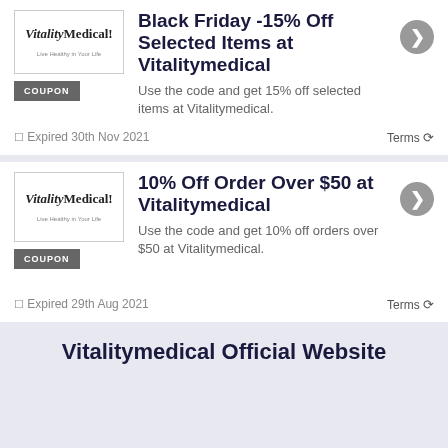[Figure (logo): Vitality Medical logo in a white box]
Black Friday -15% Off Selected Items at Vitalitymedical
Use the code and get 15% off selected items at Vitalitymedical.
Expired 30th Nov 2021
Terms
[Figure (logo): Vitality Medical logo in a white box]
10% Off Order Over $50 at Vitalitymedical
Use the code and get 10% off orders over $50 at Vitalitymedical.
Expired 29th Aug 2021
Terms
Vitalitymedical Official Website